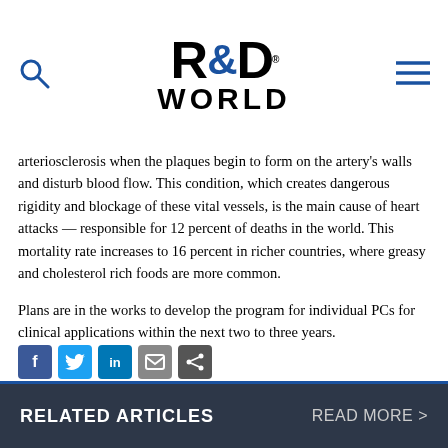R&D WORLD
arteriosclerosis when the plaques begin to form on the artery's walls and disturb blood flow. This condition, which creates dangerous rigidity and blockage of these vital vessels, is the main cause of heart attacks — responsible for 12 percent of deaths in the world. This mortality rate increases to 16 percent in richer countries, where greasy and cholesterol rich foods are more common.
Plans are in the works to develop the program for individual PCs for clinical applications within the next two to three years.
[Figure (other): Social media share icons: Facebook, Twitter, LinkedIn, Email, Share]
RELATED ARTICLES    READ MORE >